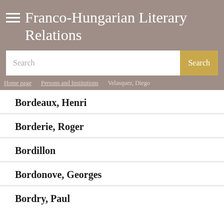≡ Franco-Hungarian Literary Relations
Search
Home page > Persons and Institutions > Velasquez, Diego
Bordeaux, Henri
Borderie, Roger
Bordillon
Bordonove, Georges
Bordry, Paul